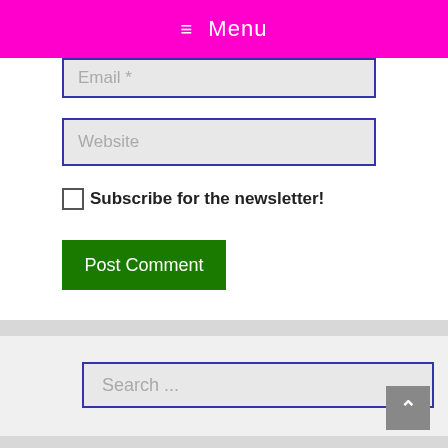≡ Menu
Email *
Website
Subscribe for the newsletter!
Post Comment
Search ...